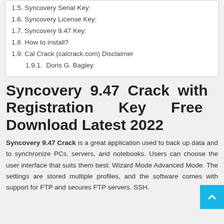1.5. Syncovery Serial Key:
1.6. Syncovery License Key:
1.7. Syncovery 9.47 Key:
1.8. How to install?
1.9. Cal Crack (calcrack.com) Disclaimer
1.9.1.  Doris G. Bagley
Syncovery 9.47 Crack with Registration Key Free Download Latest 2022
Syncovery 9.47 Crack is a great application used to back up data and to synchronize PCs, servers, and notebooks. Users can choose the user interface that suits them best: Wizard Mode Advanced Mode. The settings are stored multiple profiles, and the software comes with support for FTP and secures FTP servers. SSH.